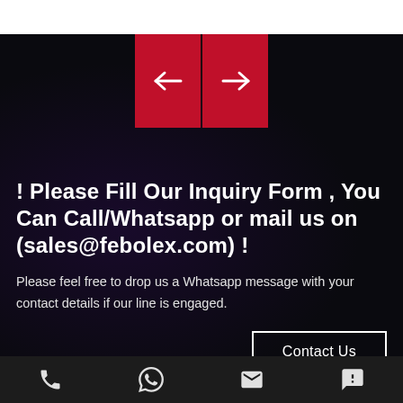[Figure (other): Navigation buttons: left arrow (←) and right arrow (→) on red backgrounds]
! Please Fill Our Inquiry Form , You Can Call/Whatsapp or mail us on (sales@febolex.com) !
Please feel free to drop us a Whatsapp message with your contact details if our line is engaged.
Contact Us
Phone | WhatsApp | Email | Chat icons